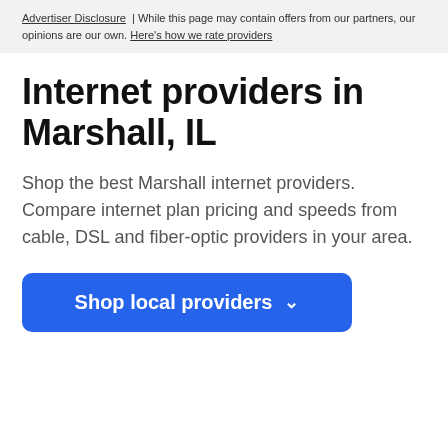Advertiser Disclosure | While this page may contain offers from our partners, our opinions are our own. Here's how we rate providers
Internet providers in Marshall, IL
Shop the best Marshall internet providers. Compare internet plan pricing and speeds from cable, DSL and fiber-optic providers in your area.
Shop local providers